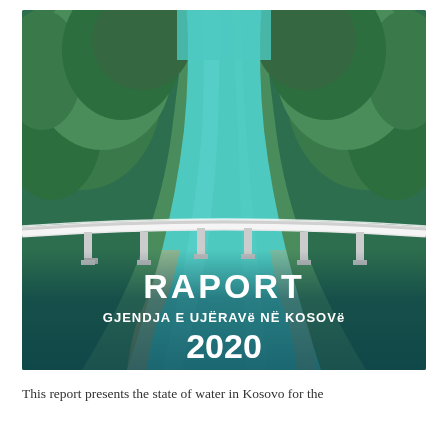[Figure (photo): Aerial photograph of a turquoise river flanked by dense green forest, with a white concrete bridge spanning the water. Text overlay reads: RAPORT / GJENDJA E UJËRAVE NË KOSOVË / 2020]
This report presents the state of water in Kosovo for the